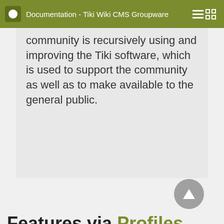Documentation - Tiki Wiki CMS Groupware
The Tiki community is recursively using and improving the Tiki software, which is used to support the community as well as to make available to the general public.
Features via Profiles